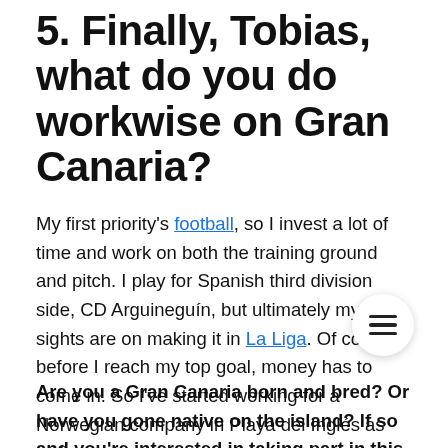5. Finally, Tobias, what do you do workwise on Gran Canaria?
My first priority's football, so I invest a lot of time and work on both the training ground and pitch. I play for Spanish third division side, CD Arguineguín, but ultimately my sights are on making it in La Liga. Of course before I reach my top goal, money has to come in. So I've started working for a Norwegian company in Playa del Inglés as well.
Are you a Gran Canaria born and bred? Or have you gone native on the island? If so and you're interested in taking part in this series, drop us a